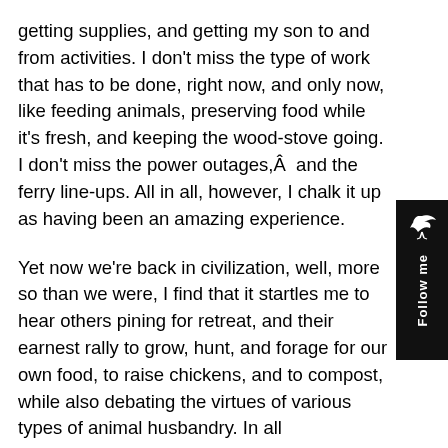getting supplies, and getting my son to and from activities. I don't miss the type of work that has to be done, right now, and only now, like feeding animals, preserving food while it's fresh, and keeping the wood-stove going. I don't miss the power outages,Â  and the ferry line-ups. All in all, however, I chalk it up as having been an amazing experience.
Yet now we're back in civilization, well, more so than we were, I find that it startles me to hear others pining for retreat, and their earnest rally to grow, hunt, and forage for our own food, to raise chickens, and to compost, while also debating the virtues of various types of animal husbandry. In all seriousness, I wish such folks well in their ventures, my heart is with you (though my back may no longer be). I know that you carry the light of human survival in these dark, and likely to become even darker, times of global warming. That said, here are some things
[Figure (other): Black sidebar panel on the right with a bird icon at the top and 'Follow me' text written vertically in white on black background.]